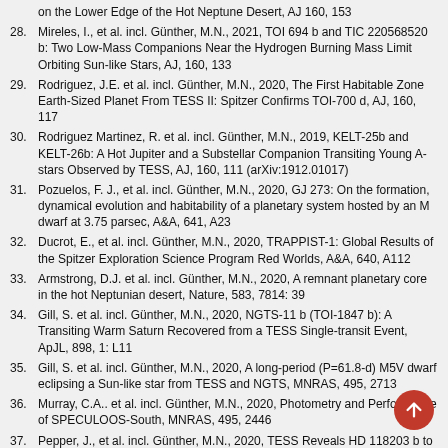28. Mireles, I., et al. incl. Günther, M.N., 2021, TOI 694 b and TIC 220568520 b: Two Low-Mass Companions Near the Hydrogen Burning Mass Limit Orbiting Sun-like Stars, AJ, 160, 133
29. Rodriguez, J.E. et al. incl. Günther, M.N., 2020, The First Habitable Zone Earth-Sized Planet From TESS II: Spitzer Confirms TOI-700 d, AJ, 160, 117
30. Rodriguez Martinez, R. et al. incl. Günther, M.N., 2019, KELT-25b and KELT-26b: A Hot Jupiter and a Substellar Companion Transiting Young A-stars Observed by TESS, AJ, 160, 111 (arXiv:1912.01017)
31. Pozuelos, F. J., et al. incl. Günther, M.N., 2020, GJ 273: On the formation, dynamical evolution and habitability of a planetary system hosted by an M dwarf at 3.75 parsec, A&A, 641, A23
32. Ducrot, E., et al. incl. Günther, M.N., 2020, TRAPPIST-1: Global Results of the Spitzer Exploration Science Program Red Worlds, A&A, 640, A112
33. Armstrong, D.J. et al. incl. Günther, M.N., 2020, A remnant planetary core in the hot Neptunian desert, Nature, 583, 7814: 39
34. Gill, S. et al. incl. Günther, M.N., 2020, NGTS-11 b (TOI-1847 b): A Transiting Warm Saturn Recovered from a TESS Single-transit Event, ApJL, 898, 1: L11
35. Gill, S. et al. incl. Günther, M.N., 2020, A long-period (P=61.8-d) M5V dwarf eclipsing a Sun-like star from TESS and NGTS, MNRAS, 495, 2713
36. Murray, C.A.. et al. incl. Günther, M.N., 2020, Photometry and Performance of SPECULOOS-South, MNRAS, 495, 2446
37. Pepper, J., et al. incl. Günther, M.N., 2020, TESS Reveals HD 118203 b to be a Transiting Planet, AJ, 159, 243